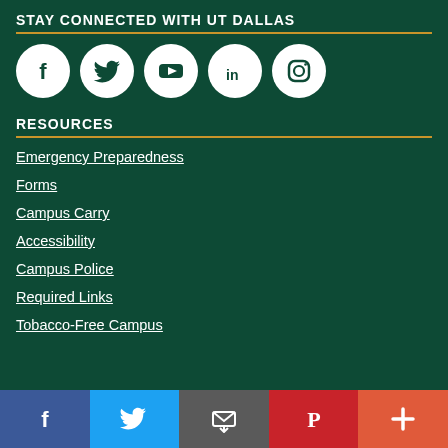STAY CONNECTED WITH UT DALLAS
[Figure (other): Five social media icons in white circles on dark green background: Facebook, Twitter, YouTube, LinkedIn, Instagram]
RESOURCES
Emergency Preparedness
Forms
Campus Carry
Accessibility
Campus Police
Required Links
Tobacco-Free Campus
[Figure (other): Bottom share bar with Facebook (blue), Twitter (light blue), Email/envelope (grey), Pinterest (red), More/plus (orange-red) buttons]